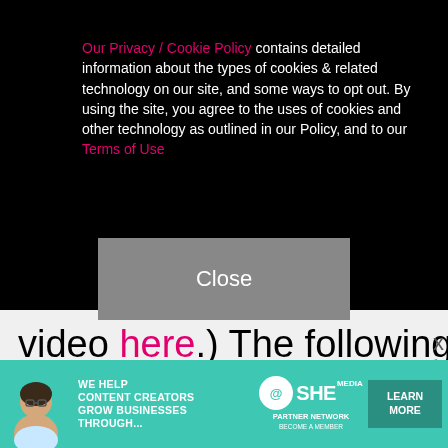Our Privacy / Cookie Policy contains detailed information about the types of cookies & related technology on our site, and some ways to opt out. By using the site, you agree to the uses of cookies and other technology as outlined in our Policy, and to our Terms of Use
Close
video here.) The following evening, G took to his Instagram Story to share a PDA-packed video of himself and the Houston-born rapper cuddling on a couch with their legs entwined as he aggressively kissed her on the cheek. (See it here.) The next morning, he returned to Instagram to share a photo of Meg posing on a staircase in the same outfit she was pictured wearing the night before. He captioned the shot with four blue-heart emojis. On Feb. 4, Megan cleared
[Figure (advertisement): SHE Partner Network advertisement banner: woman with glasses, text 'We help content creators grow businesses through...', SHE Partner Network logo, 'Learn More' button]